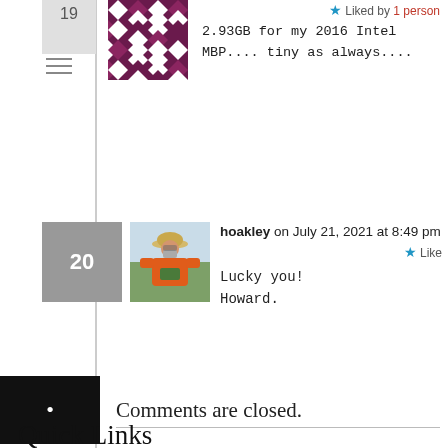Liked by 1 person
2.93GB for my 2016 Intel MBP.... tiny as always....
hoakley on July 21, 2021 at 8:49 pm
Lucky you!
Howard.
Comments are closed.
Quick Links